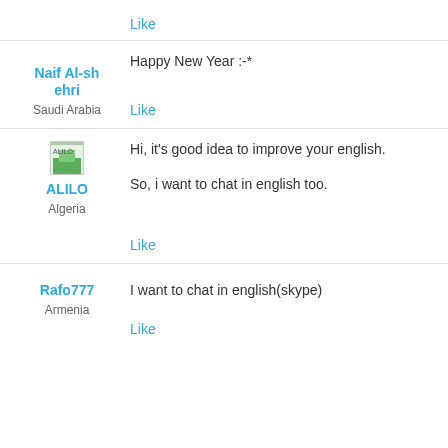Like
Happy New Year :-*
Naif Al-shehri
Saudi Arabia
Like
[Figure (photo): Small avatar image labeled ALILO]
ALILO
Algeria
Hi, it's good idea to improve your english.
So, i want to chat in english too.
Like
Rafo777
Armenia
I want to chat in english(skype)
Like